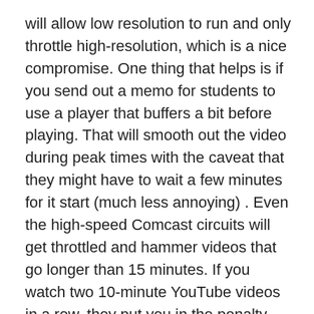will allow low resolution to run and only throttle high-resolution, which is a nice compromise. One thing that helps is if you send out a memo for students to use a player that buffers a bit before playing. That will smooth out the video during peak times with the caveat that they might have to wait a few minutes for it start (much less annoying) . Even the high-speed Comcast circuits will get throttled and hammer videos that go longer than 15 minutes. If you watch two 10-minute YouTube videos in a row, they put you in the penalty bucket.
(Top)
Do Connection Limits Kick in When the Trunk is 85 Percent Saturated?
I've got the connection limits at 60 (30in/30out). I thought I